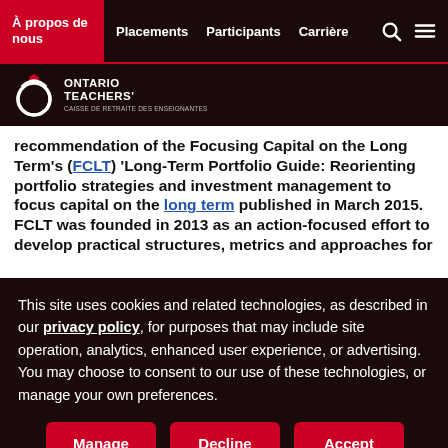À propos de nous | Placements | Participants | Carrière
[Figure (logo): Ontario Teachers' Pension Plan logo with circular graphic and French subtitle]
recommendation of the Focusing Capital on the Long Term's (FCLT) 'Long-Term Portfolio Guide: Reorienting portfolio strategies and investment management to focus capital on the long term published in March 2015. FCLT was founded in 2013 as an action-focused effort to develop practical structures, metrics and approaches for
This site uses cookies and related technologies, as described in our privacy policy, for purposes that may include site operation, analytics, enhanced user experience, or advertising. You may choose to consent to our use of these technologies, or manage your own preferences.
Manage | Decline | Accept